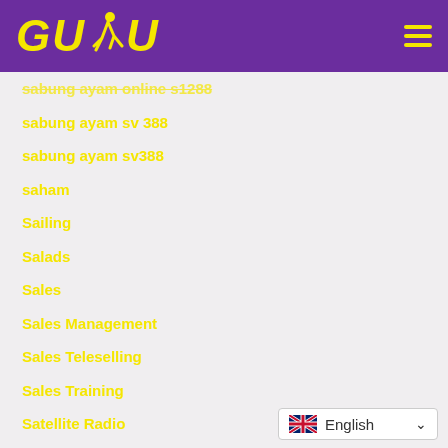[Figure (logo): GUDU logo with yellow bold italic text and a running figure silhouette on purple background]
sabung ayam online s1288
sabung ayam sv 388
sabung ayam sv388
saham
Sailing
Salads
Sales
Sales Management
Sales Teleselling
Sales Training
Satellite Radio
satellite tv
sbo
English